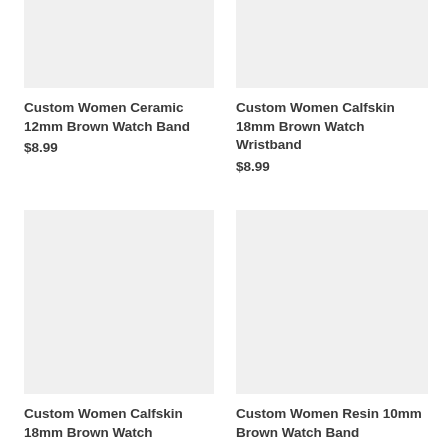[Figure (photo): Product image placeholder for Custom Women Ceramic 12mm Brown Watch Band (top left, light gray background)]
Custom Women Ceramic 12mm Brown Watch Band
$8.99
[Figure (photo): Product image placeholder for Custom Women Calfskin 18mm Brown Watch Wristband (top right, light gray background)]
Custom Women Calfskin 18mm Brown Watch Wristband
$8.99
[Figure (photo): Product image placeholder for Custom Women Calfskin 18mm Brown Watch (bottom left, light gray background)]
Custom Women Calfskin 18mm Brown Watch
[Figure (photo): Product image placeholder for Custom Women Resin 10mm Brown Watch Band (bottom right, light gray background)]
Custom Women Resin 10mm Brown Watch Band